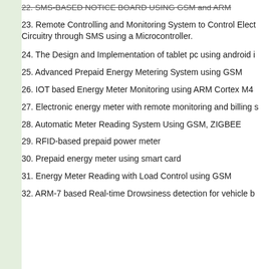22. SMS-BASED NOTICE BOARD USING GSM and ARM
23. Remote Controlling and Monitoring System to Control Electrical Circuitry through SMS using a Microcontroller.
24. The Design and Implementation of tablet pc using android i
25. Advanced Prepaid Energy Metering System using GSM
26. IOT based Energy Meter Monitoring using ARM Cortex M4
27. Electronic energy meter with remote monitoring and billing s
28. Automatic Meter Reading System Using GSM, ZIGBEE
29. RFID-based prepaid power meter
30. Prepaid energy meter using smart card
31. Energy Meter Reading with Load Control using GSM
32. ARM-7 based Real-time Drowsiness detection for vehicle b